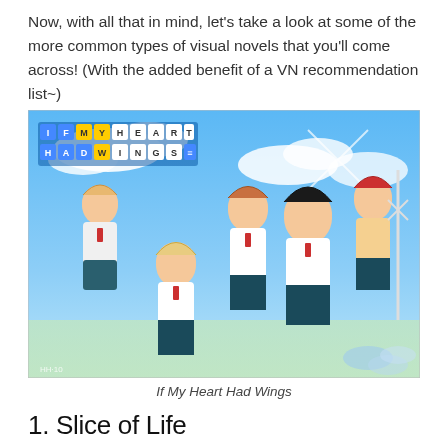Now, with all that in mind, let's take a look at some of the more common types of visual novels that you'll come across! (With the added benefit of a VN recommendation list~)
[Figure (illustration): Anime-style promotional illustration for visual novel 'If My Heart Had Wings' showing five female characters in school uniforms against a bright blue sky with clouds and windmills. The logo 'IF MY HEART HAD WINGS' appears in the upper left corner.]
If My Heart Had Wings
1. Slice of Life